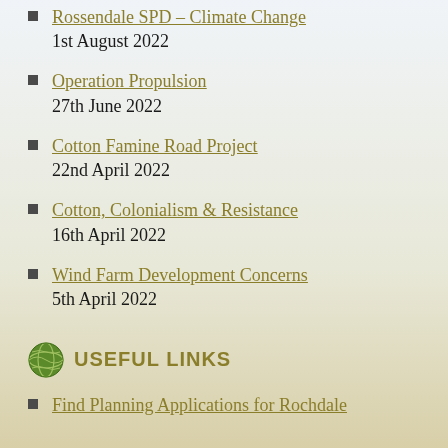Rossendale SPD – Climate Change
1st August 2022
Operation Propulsion
27th June 2022
Cotton Famine Road Project
22nd April 2022
Cotton, Colonialism & Resistance
16th April 2022
Wind Farm Development Concerns
5th April 2022
USEFUL LINKS
Find Planning Applications for Rochdale